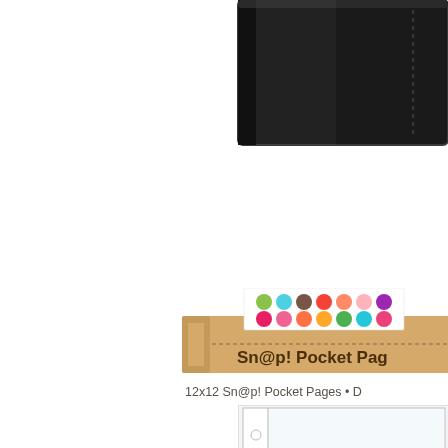[Figure (photo): Black leather binder/album product photo, cropped showing top-right portion of the binder against white background]
[Figure (photo): Kraft cardboard packaging strip/label for Sn@p! Pocket Pages product, with colorful polka dot card insert visible on top, brown text reading 'Sn@p! Pocket Pag...' on kraft background]
12x12 Sn@p! Pocket Pages • D
[Figure (photo): Clear plastic pocket page/sheet protector product, showing transparent pockets with three hole punch binding, partially cropped. Small text '12x' visible in bottom right.]